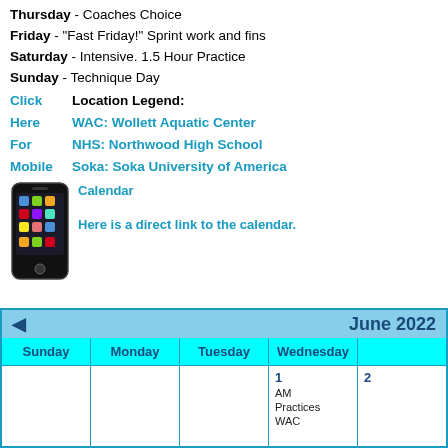Thursday - Coaches Choice
Friday - "Fast Friday!" Sprint work and fins
Saturday - Intensive. 1.5 Hour Practice
Sunday - Technique Day
Click    Location Legend:
Here     WAC: Wollett Aquatic Center
For      NHS: Northwood High School
Mobile   Soka: Soka University of America
         Calendar
         Here is a direct link to the calendar.
[Figure (photo): Smartphone/iPhone device image]
| Sunday | Monday | Tuesday | Wednesday |  |
| --- | --- | --- | --- | --- |
|  |  |  | 1
AM
Practices
WAC | 2 |